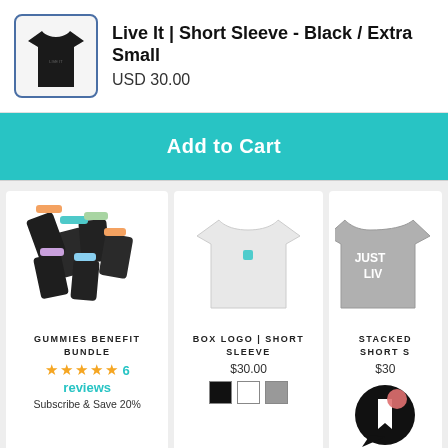[Figure (photo): Black t-shirt thumbnail with blue border]
Live It | Short Sleeve - Black / Extra Small
USD 30.00
Add to Cart
[Figure (photo): Gummies benefit bundle product - multiple dark pouches with colorful accents]
GUMMIES BENEFIT BUNDLE
★★★★★ 6 reviews
Subscribe & Save 20%
[Figure (photo): White short sleeve t-shirt with small logo on chest]
BOX LOGO | SHORT SLEEVE
$30.00
[Figure (photo): Gray stacked logo short sleeve t-shirt, partially visible]
STACKED SHORT S...
$30